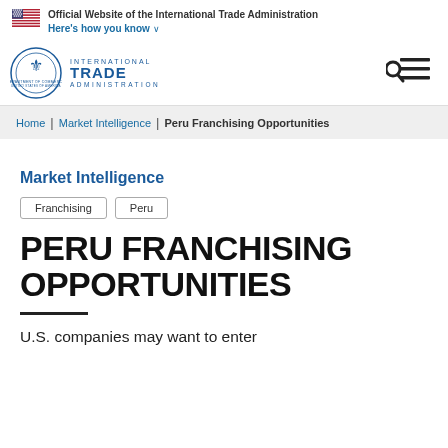Official Website of the International Trade Administration | Here's how you know
[Figure (logo): US flag icon and International Trade Administration / Department of Commerce seal and logo]
Home | Market Intelligence | Peru Franchising Opportunities
Market Intelligence
Franchising
Peru
PERU FRANCHISING OPPORTUNITIES
U.S. companies may want to enter